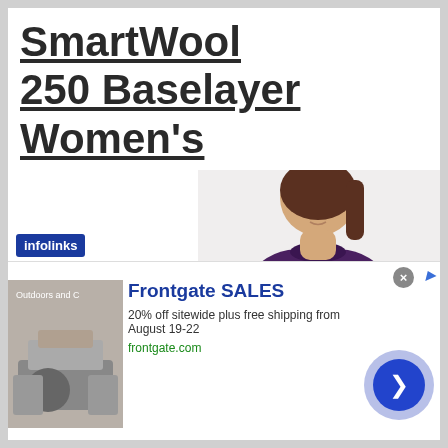SmartWool 250 Baselayer Women's
[Figure (photo): Woman wearing a purple long-sleeve SmartWool baselayer top, upper body visible]
For

good

reason

, the

Smart

Wool
[Figure (other): Infolinks badge overlay in blue]
[Figure (other): Advertisement banner: Frontgate SALES - 20% off sitewide plus free shipping from August 19-22, frontgate.com. Includes outdoor furniture image and a circular CTA button.]